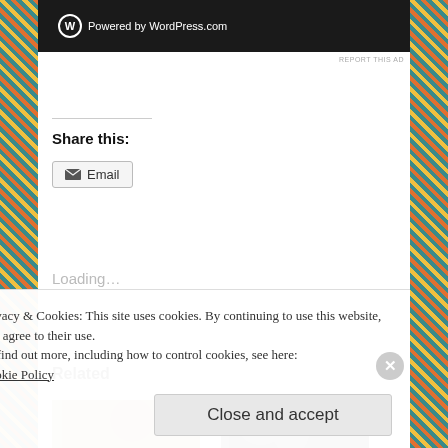[Figure (screenshot): Dark WordPress.com banner advertisement with WordPress logo and 'Powered by WordPress.com' text]
REPORT THIS AD
Share this:
Email
Loading...
Related
[Figure (photo): Related article thumbnail image 1 - cat fur close-up]
[Figure (photo): Related article thumbnail image 2 - cat fur close-up dark]
Privacy & Cookies: This site uses cookies. By continuing to use this website, you agree to their use.
To find out more, including how to control cookies, see here:
Cookie Policy
Close and accept